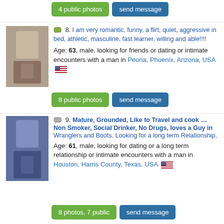4 public photos | send message
8. I am very romantic, funny, a flirt, quiet, aggressive in bed, athletic, masculine, fast learner, willing and able!!!! Age: 63, male, looking for friends or dating or intimate encounters with a man in Peoria, Phoenix, Arizona, USA
8 public photos | send message
9. Mature, Grounded, Like to Travel and cook ... Non Smoker, Social Drinker, No Drugs, loves a Guy in Wranglers and Boots. Looking for a long term Relationship, Age: 61, male, looking for dating or a long term relationship or intimate encounters with a man in Houston, Harris County, Texas, USA
8 photos, 7 public | send message